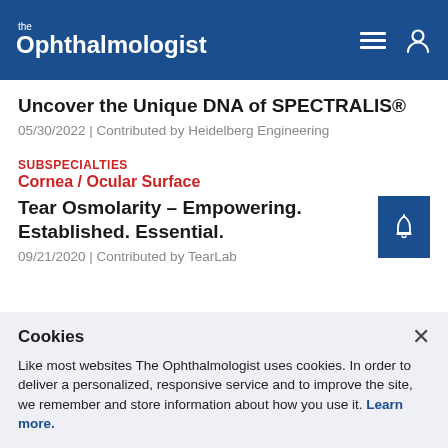the Ophthalmologist
Uncover the Unique DNA of SPECTRALIS®
05/30/2022 | Contributed by Heidelberg Engineering
SUBSPECIALTIES
Cornea / Ocular Surface
Tear Osmolarity – Empowering. Established. Essential.
09/21/2020 | Contributed by TearLab
Cookies
Like most websites The Ophthalmologist uses cookies. In order to deliver a personalized, responsive service and to improve the site, we remember and store information about how you use it. Learn more.